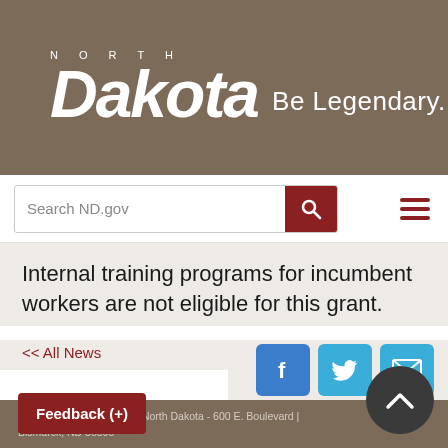[Figure (logo): North Dakota state logo with text 'NORTH Dakota Be Legendary.' on brown/tan background]
Search ND.gov
Internal training programs for incumbent workers are not eligible for this grant.
<< All News
[Figure (infographic): Facebook, Twitter, and Email social sharing buttons]
Copyright © 2020 State of North Dakota - 600 E. Boulevard | Bismarck, ND 58503
Accessibility | Contact | Disclaimer | Privacy Policy | Security Policy | State Marketing
Feedback (+)